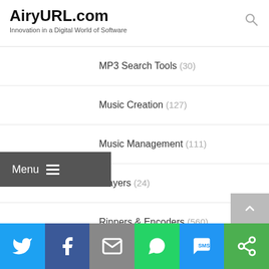AiryURL.com — Innovation in a Digital World of Software
MP3 Search Tools (30)
Music Creation (127)
Music Management (111)
Players (24)
Rippers & Encoders (560)
Streaming Audio (62)
Utilities & Plug-Ins (104)
Business & Finance (3,685)
Social share bar: Twitter, Facebook, Email, WhatsApp, SMS, More